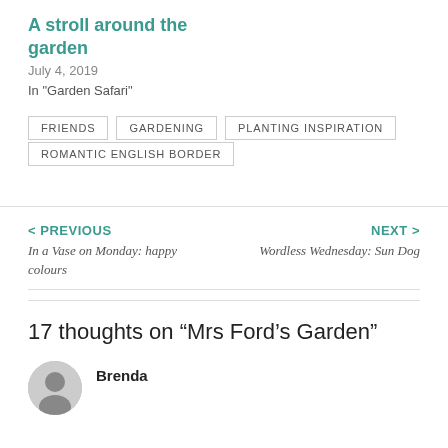A stroll around the garden
July 4, 2019
In "Garden Safari"
FRIENDS
GARDENING
PLANTING INSPIRATION
ROMANTIC ENGLISH BORDER
< PREVIOUS
In a Vase on Monday: happy colours
NEXT >
Wordless Wednesday: Sun Dog
17 thoughts on “Mrs Ford’s Garden”
Brenda